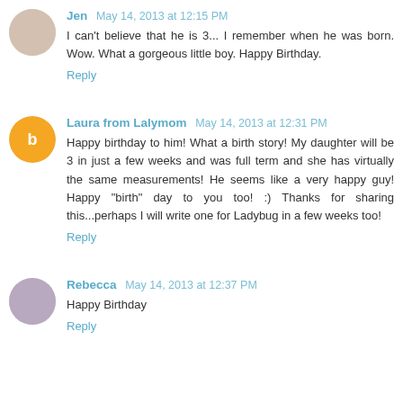Jen May 14, 2013 at 12:15 PM
I can't believe that he is 3... I remember when he was born. Wow. What a gorgeous little boy. Happy Birthday.
Reply
Laura from Lalymom May 14, 2013 at 12:31 PM
Happy birthday to him! What a birth story! My daughter will be 3 in just a few weeks and was full term and she has virtually the same measurements! He seems like a very happy guy! Happy "birth" day to you too! :) Thanks for sharing this...perhaps I will write one for Ladybug in a few weeks too!
Reply
Rebecca May 14, 2013 at 12:37 PM
Happy Birthday
Reply